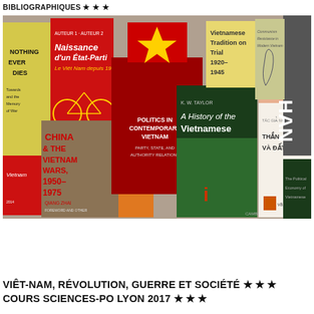BIBLIOGRAPHIQUES ★ ★ ★
[Figure (photo): A collection of books about Vietnam displayed upright, including titles such as 'Nothing Ever Dies', 'Naissance d'un État-Parti: Le Viêt Nam depuis 1945', 'China & The Vietnam Wars 1950–1975', 'Politics in Contemporary Vietnam: Party, State, and Authority Relations', 'Vietnamese Tradition on Trial 1920–1945', 'A History of the Vietnamese' by K.W. Taylor, 'Thần, Người và Đất Việt', and others.]
VIÊT-NAM, RÉVOLUTION, GUERRE ET SOCIÉTÉ ★ ★ ★ COURS SCIENCES-PO LYON 2017 ★ ★ ★